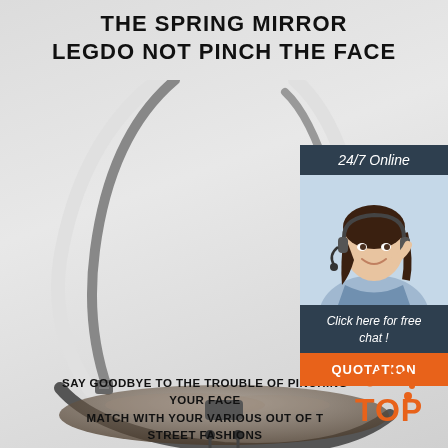THE SPRING MIRROR
LEGDO NOT PINCH THE FACE
[Figure (photo): Bottom view of metal sunglasses with spring hinges and temple arms spread open, showing dark lenses and flexible temples on light grey background]
SAY GOODBYE TO THE TROUBLE OF PINCHING YOUR FACE
MATCH WITH YOUR VARIOUS OUT OF THE STREET FASHIONS
[Figure (infographic): Customer service chat widget with '24/7 Online' header, photo of smiling female customer service representative with headset, 'Click here for free chat!' text in dark teal box, and 'QUOTATION' orange button]
[Figure (logo): TOP badge with orange dots and TOP text in orange]